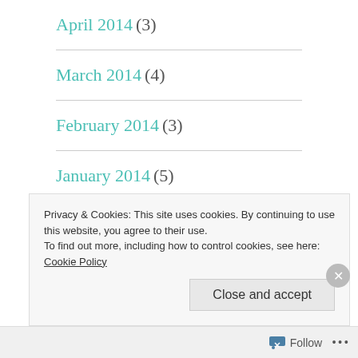April 2014 (3)
March 2014 (4)
February 2014 (3)
January 2014 (5)
December 2013 (9)
November 2013 (11)
Privacy & Cookies: This site uses cookies. By continuing to use this website, you agree to their use. To find out more, including how to control cookies, see here: Cookie Policy
Follow ...